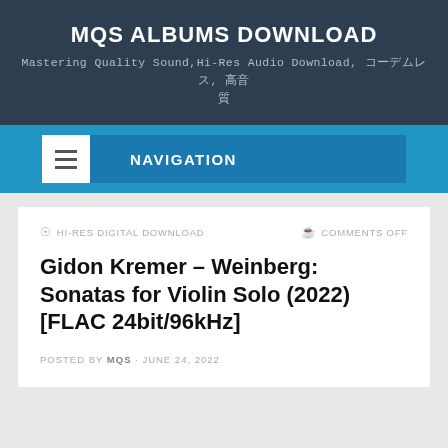MQS ALBUMS DOWNLOAD
Mastering Quality Sound,Hi-Res Audio Download, 무손실, 고음 질
NAVIGATION
HI-RES DIGITAL DOWNLOAD
COMMENTS OFF
Gidon Kremer – Weinberg: Sonatas for Violin Solo (2022) [FLAC 24bit/96kHz]
POSTED BY MQS · JUNE 24, 2022